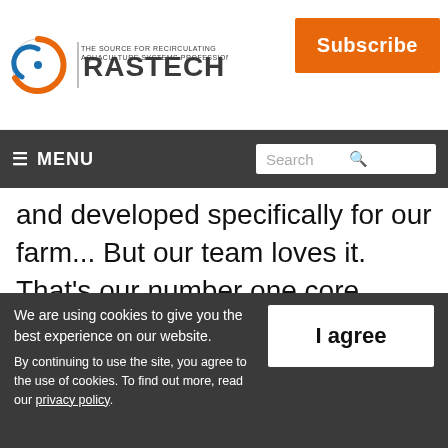RASTECH — THE SOURCE FOR RECIRCULATING AQUACULTURE SYSTEMS PROFESSIONALS | Subscribe
≡ MENU | Search
and developed specifically for our farm... But our team loves it. That's our number one core value, which is to live safety. So we live that we are very mindful that we are selling food to the public, so the food safety is very important to us.
We are using cookies to give you the best experience on our website. By continuing to use the site, you agree to the use of cookies. To find out more, read our privacy policy.